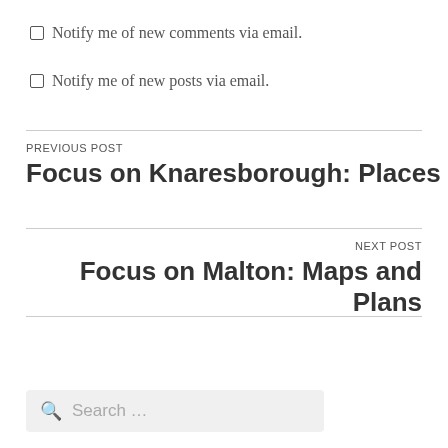Notify me of new comments via email.
Notify me of new posts via email.
PREVIOUS POST
Focus on Knaresborough: Places
NEXT POST
Focus on Malton: Maps and Plans
Search ...